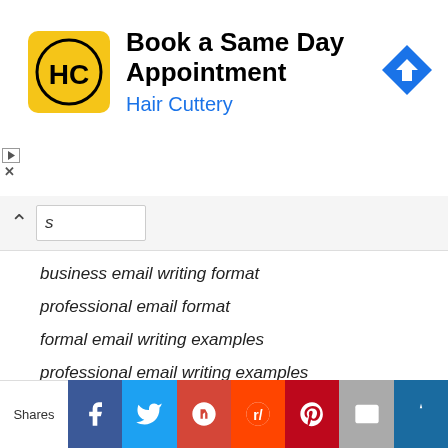[Figure (screenshot): Hair Cuttery advertisement banner: yellow square logo with HC initials, bold text 'Book a Same Day Appointment', blue text 'Hair Cuttery', and a blue navigation arrow icon on the right]
business email writing format
professional email format
formal email writing examples
professional email writing examples
business email format example
professional email writing examples pdf
professional email writing samples
business email writing samples pdf
email business letter format
proper business email format
[Figure (screenshot): Social sharing bar at bottom with Shares label and buttons for Facebook, Twitter, Google+, Reddit, Pinterest, Email, and a crown/bookmark icon]